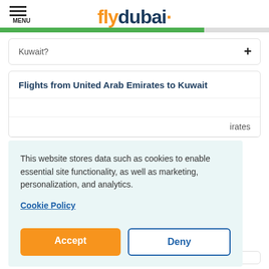[Figure (logo): flydubai logo with orange 'fly' and dark blue 'dubai' text with orange dot]
Kuwait?
Flights from United Arab Emirates to Kuwait
This website stores data such as cookies to enable essential site functionality, as well as marketing, personalization, and analytics.
Cookie Policy
Accept
Deny